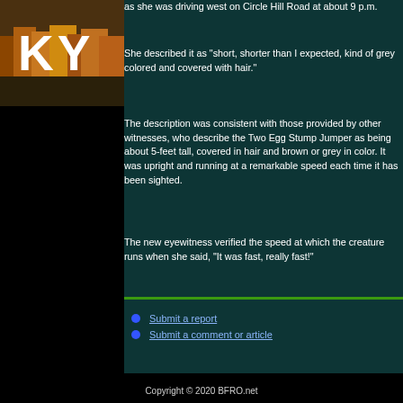[Figure (photo): Kentucky state image with autumn forest and large white KY letters]
as she was driving west on Circle Hill Road at about 9 p.m.
She described it as "short, shorter than I expected, kind of grey colored and covered with hair."
The description was consistent with those provided by other witnesses, who describe the Two Egg Stump Jumper as being about 5-feet tall, covered in hair and brown or grey in color. It was upright and running at a remarkable speed each time it has been sighted.
The new eyewitness verified the speed at which the creature runs when she said, "It was fast, really fast!"
Submit a report
Submit a comment or article
Copyright © 2020 BFRO.net